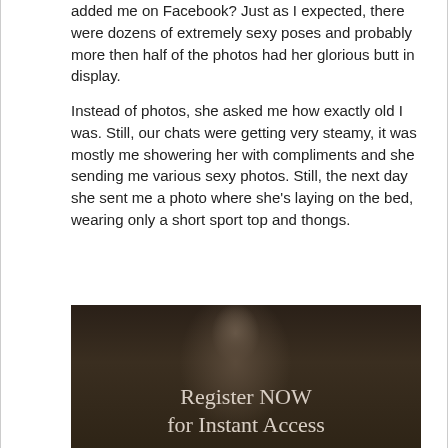added me on Facebook? Just as I expected, there were dozens of extremely sexy poses and probably more then half of the photos had her glorious butt in display.
Instead of photos, she asked me how exactly old I was. Still, our chats were getting very steamy, it was mostly me showering her with compliments and she sending me various sexy photos. Still, the next day she sent me a photo where she's laying on the bed, wearing only a short sport top and thongs.
[Figure (photo): Dark photo of a person taking a mirror selfie, with overlaid text reading 'Register NOW for Instant Access']